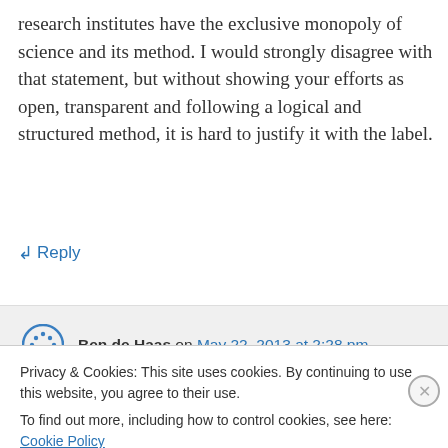research institutes have the exclusive monopoly of science and its method. I would strongly disagree with that statement, but without showing your efforts as open, transparent and following a logical and structured method, it is hard to justify it with the label.
↳ Reply
Ben de Haas on May 22, 2013 at 2:28 pm
Privacy & Cookies: This site uses cookies. By continuing to use this website, you agree to their use.
To find out more, including how to control cookies, see here: Cookie Policy
Close and accept